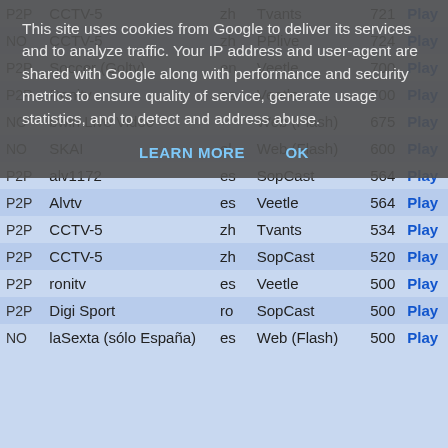This site uses cookies from Google to deliver its services and to analyze traffic. Your IP address and user-agent are shared with Google along with performance and security metrics to ensure quality of service, generate usage statistics, and to detect and address abuse.
LEARN MORE   OK
| Type | Name | Lang | Provider | Num | Action |
| --- | --- | --- | --- | --- | --- |
| P2P | CCTV-5 | zh | Tvants | 721 | Play |
| NO | CCTV-5 | zh | PPlive | 724 | Play |
| P2P | Soccer (Goltv) | en | Veetle | 700 | Play |
| P2P | Ronitv | es | Veetle | 700 | Play |
| NO | bwin Live Video |  | Web (Flash) | 675 | Play |
| NO | SKAI | el | Web (Flash) | 600 | Play |
| P2P | alv1172 | es | SopCast | 564 | Play |
| P2P | Alvtv | es | Veetle | 564 | Play |
| P2P | CCTV-5 | zh | Tvants | 534 | Play |
| P2P | CCTV-5 | zh | SopCast | 520 | Play |
| P2P | ronitv | es | Veetle | 500 | Play |
| P2P | Digi Sport | ro | SopCast | 500 | Play |
| NO | laSexta (sólo España) | es | Web (Flash) | 500 | Play |